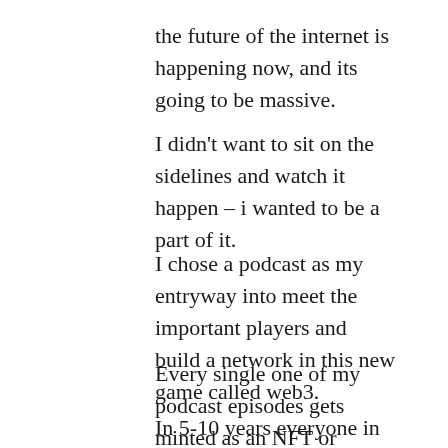the future of the internet is happening now, and its going to be massive.
I didn't want to sit on the sidelines and watch it happen – i wanted to be a part of it.
I chose a podcast as my entryway into meet the important players and build a network in this new game called web3.
Every single one of my podcast episodes gets minted as an NFT or non-fungible token that you can buy and own.
In 5-10 years everyone in the world is